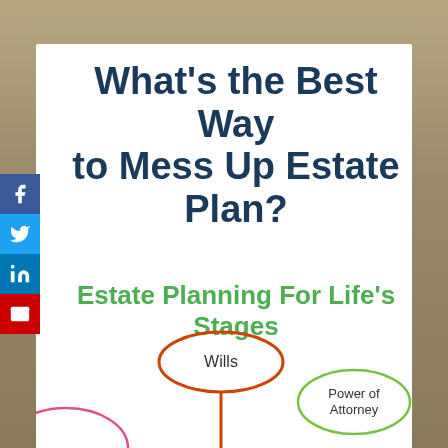What's the Best Way to Mess Up Estate Plan?
Estate Planning For Life's Stages
[Figure (infographic): Mind-map style diagram showing estate planning concepts: 'Wills' in an orange-red ellipse at center-top with a stem line, 'Power of Attorney' in a green ellipse at right, and a partial pink ellipse at bottom-left (partially cut off). Social media share buttons (Facebook, Twitter, LinkedIn, Email) on the left sidebar.]